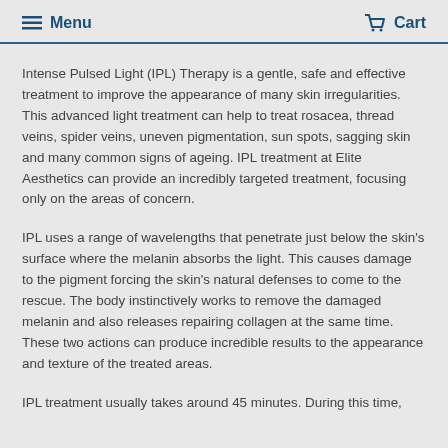Menu   Cart
Intense Pulsed Light (IPL) Therapy is a gentle, safe and effective treatment to improve the appearance of many skin irregularities. This advanced light treatment can help to treat rosacea, thread veins, spider veins, uneven pigmentation, sun spots, sagging skin and many common signs of ageing. IPL treatment at Elite Aesthetics can provide an incredibly targeted treatment, focusing only on the areas of concern.
IPL uses a range of wavelengths that penetrate just below the skin's surface where the melanin absorbs the light. This causes damage to the pigment forcing the skin's natural defenses to come to the rescue. The body instinctively works to remove the damaged melanin and also releases repairing collagen at the same time. These two actions can produce incredible results to the appearance and texture of the treated areas.
IPL treatment usually takes around 45 minutes. During this time,